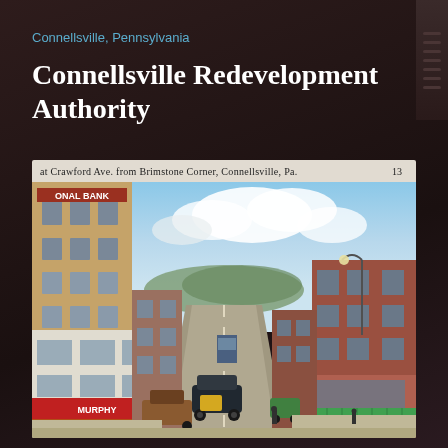Connellsville, Pennsylvania
Connellsville Redevelopment Authority
[Figure (photo): Vintage color postcard showing Crawford Ave. from Brimstone Corner, Connellsville, Pa. The street scene features historic commercial buildings including a National Bank building on the left, Murphy store with awning, classic automobiles from the 1940s era, and storefronts lining both sides of the street with a mountain visible in the background. Caption reads: 'at Crawford Ave. from Brimstone Corner, Connellsville, Pa.' with number 13.]